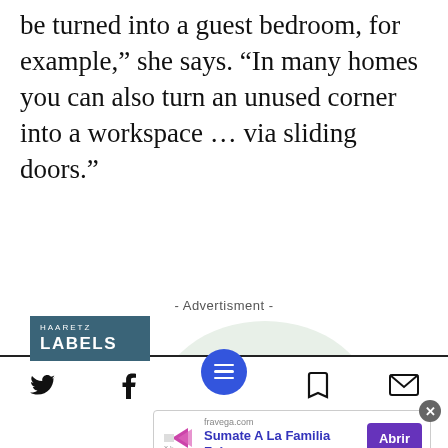be turned into a guest bedroom, for example,” she says. “In many homes you can also turn an unused corner into a workspace … via sliding doors.”
- Advertisment -
[Figure (illustration): Haaretz Labels advertisement showing two hands in a handshake grip, illustrated in a soft peach/coral color on a light green oval background. A teal/dark blue badge with 'HAARETZ LABELS' text appears in the upper left.]
The Path to Giving: A Revolutionary Donation Model
[Figure (screenshot): Bottom navigation toolbar with Twitter bird icon, Facebook f icon, a blue circular menu button with three horizontal lines, a bookmark icon, and an envelope/mail icon.]
[Figure (screenshot): Mobile advertisement banner from fravega.com showing 'Sumate A La Familia Frávega' with a purple 'Abrir' button and close X button. Shows a stylized arrow/play logo.]